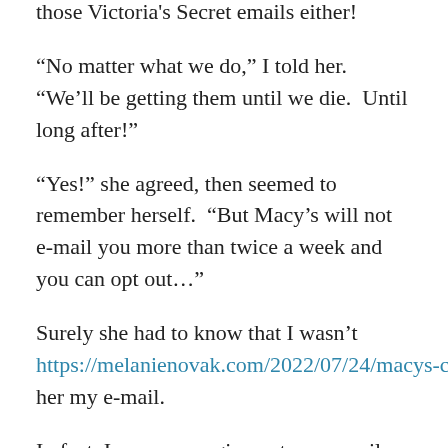those Victoria's Secret emails either!
“No matter what we do,” I told her.  “We’ll be getting them until we die.  Until long after!”
“Yes!” she agreed, then seemed to remember herself.  “But Macy’s will not e-mail you more than twice a week and you can opt out…”
Surely she had to know that I wasn’t https://melanienovak.com/2022/07/24/macys-can-blame-victorias-secret-for-not-getting-my-email-address/giving her my e-mail.
In fact, I may never give out my e-mail, phone number, or address again.  I don’t need you to swipe my loyalty card so I can get a free cup of